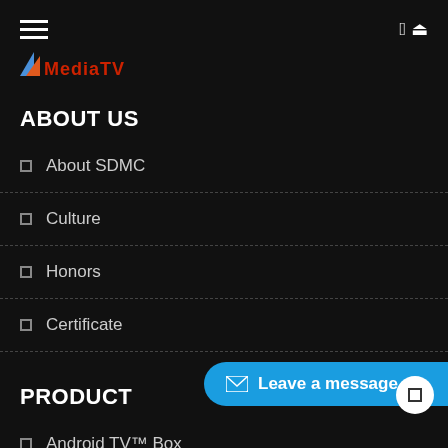[Figure (logo): MediaTek / MediaTV logo with colored arrow/triangle icon in blue and red, text in red and dark gradient]
ABOUT US
About SDMC
Culture
Honors
Certificate
PRODUCT
Android TV™ Box
Android TV™ Dongle
Leave a message